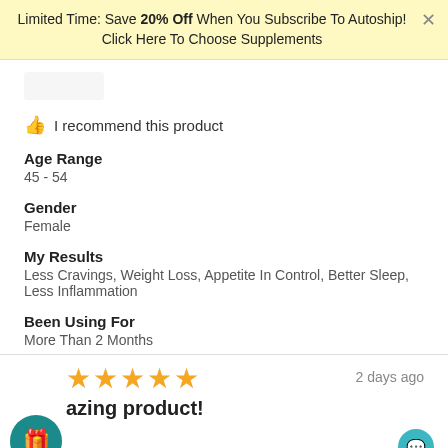Limited Time: Save 20% Off When You Subscribe To Autoship! Click Here To Choose Supplements
[Figure (photo): Partial product image at top of review card]
I recommend this product
Age Range
45 - 54
Gender
Female
My Results
Less Cravings, Weight Loss, Appetite In Control, Better Sleep, Less Inflammation
Been Using For
More Than 2 Months
2 days ago
Amazing product!